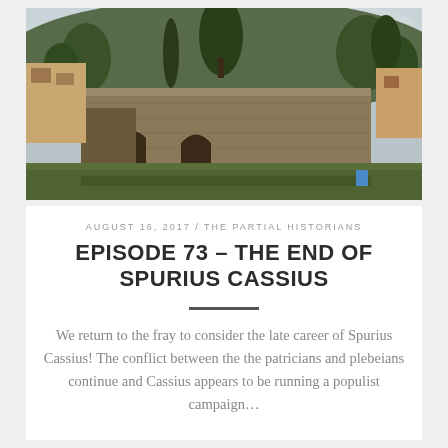[Figure (photo): Photograph of ancient Roman ruins on a hillside with trees, stone walls with arched openings, and residential buildings in background under an overcast sky]
AUGUST 16, 2017 / THE PARTIAL HISTORIANS
EPISODE 73 – THE END OF SPURIUS CASSIUS
We return to the fray to consider the late career of Spurius Cassius! The conflict between the the patricians and plebeians continue and Cassius appears to be running a populist campaign…